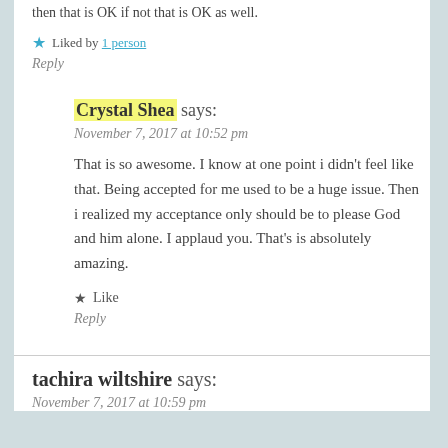then that is OK if not that is OK as well.
Liked by 1 person
Reply
Crystal Shea says:
November 7, 2017 at 10:52 pm
That is so awesome. I know at one point i didn't feel like that. Being accepted for me used to be a huge issue. Then i realized my acceptance only should be to please God and him alone. I applaud you. That's is absolutely amazing.
Like
Reply
tachira wiltshire says:
November 7, 2017 at 10:59 pm